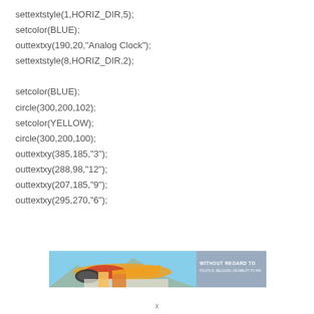settextstyle(1,HORIZ_DIR,5);
setcolor(BLUE);
outtextxy(190,20,"Analog Clock");
settextstyle(8,HORIZ_DIR,2);

setcolor(BLUE);
circle(300,200,102);
setcolor(YELLOW);
circle(300,200,100);
outtextxy(385,185,"3");
outtextxy(288,98,"12");
outtextxy(207,185,"9");
outtextxy(295,270,"6");
[Figure (photo): Advertisement banner showing an airplane being loaded with cargo, with text 'WITHOUT REGARD TO POLITICS, RELIGION, OR ABILITY TO PAY']
x